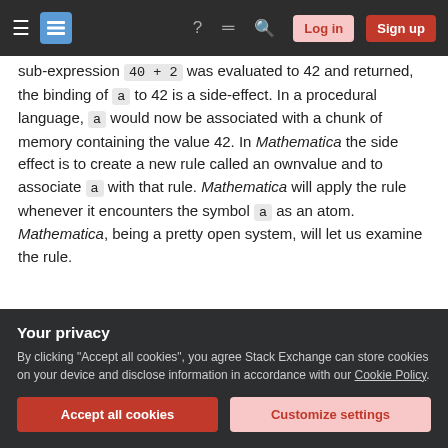Stack Exchange navigation bar with hamburger menu, logo, help, chat, search icons, Log in and Sign up buttons
sub-expression 40 + 2 was evaluated to 42 and returned, the binding of a to 42 is a side-effect. In a procedural language, a would now be associated with a chunk of memory containing the value 42. In Mathematica the side effect is to create a new rule called an ownvalue and to associate a with that rule. Mathematica will apply the rule whenever it encounters the symbol a as an atom. Mathematica, being a pretty open system, will let us examine the rule.
Your privacy
By clicking "Accept all cookies", you agree Stack Exchange can store cookies on your device and disclose information in accordance with our Cookie Policy.
Accept all cookies
Customize settings
procedural assignment, consider